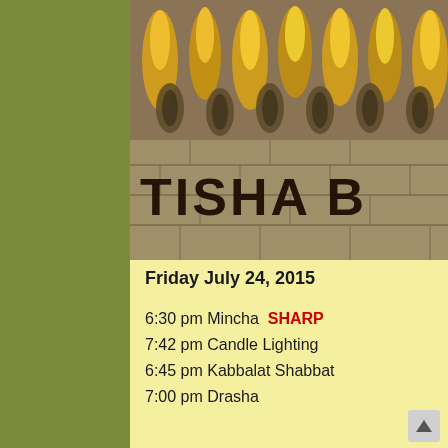[Figure (photo): Close-up photograph of shofar (ram's horn) with flames/candles behind, and large bold text reading 'TISHA B' on stone/brick texture background]
Friday July 24, 2015
6:30 pm Mincha  SHARP
7:42 pm Candle Lighting
6:45 pm Kabbalat Shabbat
7:00 pm Drasha